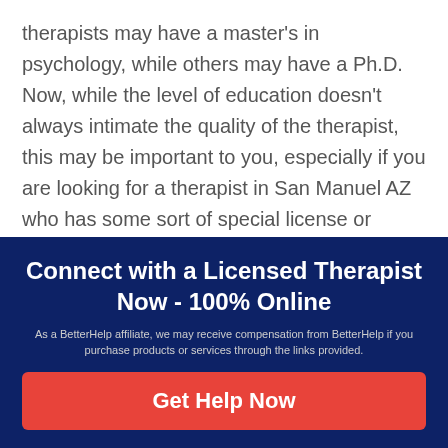therapists may have a master's in psychology, while others may have a Ph.D. Now, while the level of education doesn't always intimate the quality of the therapist, this may be important to you, especially if you are looking for a therapist in San Manuel AZ who has some sort of special license or credential.

With this being said, you may want to try searching in Google, Licensed Therapist Near
Connect with a Licensed Therapist Now - 100% Online
As a BetterHelp affiliate, we may receive compensation from BetterHelp if you purchase products or services through the links provided.
Get Help Now